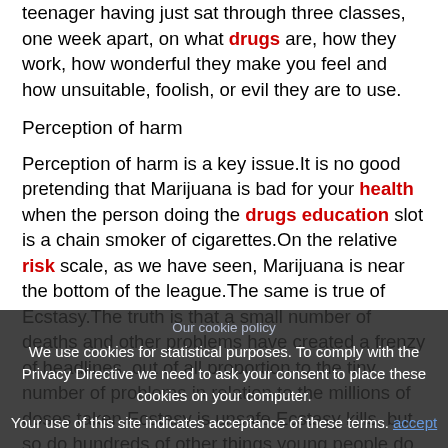teenager having just sat through three classes, one week apart, on what drugs are, how they work, how wonderful they make you feel and how unsuitable, foolish, or evil they are to use.
Perception of harm
Perception of harm is a key issue.It is no good pretending that Marijuana is bad for your health when the person doing the drugs education slot is a chain smoker of cigarettes.On the relative risk scale, as we have seen, Marijuana is near the bottom of the league.The same is true of Ecstasy.The truth is that a small number of deaths and other problems have created a frenzy of headlines, out of all proportion to the tiny number of problems in relation to the millions of doses taken.Ecstasy is unsafe.Ecstasy kills, but so do hundreds of other things young people do of which one of the commonest and most dangerous is allowing themselves to be driven by a friend who has only recently learned to drive.
Another difficulty is that when talking of the dangers of – say – smoking to teenagers, they worry not about dying but about smoking too long. They may not care about getting lung cancer at the age of seventy.
Our cookie policy
We use cookies for statistical purposes. To comply with the Privacy Directive we need to ask your consent to place these cookies on your computer.
Your use of this site indicates acceptance of these terms.